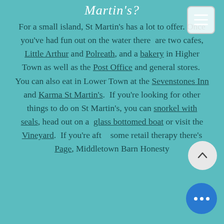Martin's?
For a small island, St Martin's has a lot to offer. Once you've had fun out on the water there are two cafes, Little Arthur and Polreath, and a bakery in Higher Town as well as the Post Office and general stores. You can also eat in Lower Town at the Sevenstones Inn and Karma St Martin's. If you're looking for other things to do on St Martin's, you can snorkel with seals, head out on a glass bottomed boat or visit the Vineyard. If you're after some retail therapy there's Page, Middletown Barn Honesty